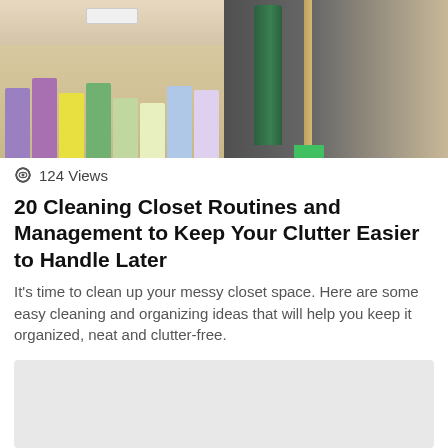[Figure (photo): Two-panel photo collage: left side shows a cabinet with organized cleaning supplies and spray bottles on shelves; right side shows a closet with a vacuum cleaner, mop, and broom stored vertically.]
124 Views
20 Cleaning Closet Routines and Management to Keep Your Clutter Easier to Handle Later
It's time to clean up your messy closet space. Here are some easy cleaning and organizing ideas that will help you keep it organized, neat and clutter-free.
[Figure (other): Light gray placeholder/advertisement box at the bottom of the page.]